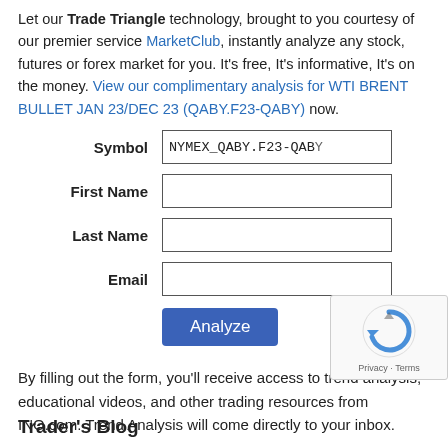Let our Trade Triangle technology, brought to you courtesy of our premier service MarketClub, instantly analyze any stock, futures or forex market for you. It's free, It's informative, It's on the money. View our complimentary analysis for WTI BRENT BULLET JAN 23/DEC 23 (QABY.F23-QABY now.
Symbol: NYMEX_QABY.F23-QABY. First Name: [input]. Last Name: [input]. Email: [input]. Analyze [button].
By filling out the form, you'll receive access to trend analysis, educational videos, and other trading resources from INO.com. Trend Analysis will come directly to your inbox.
[Figure (other): reCAPTCHA widget showing a circular arrow icon with Privacy and Terms links]
Trader's Blog